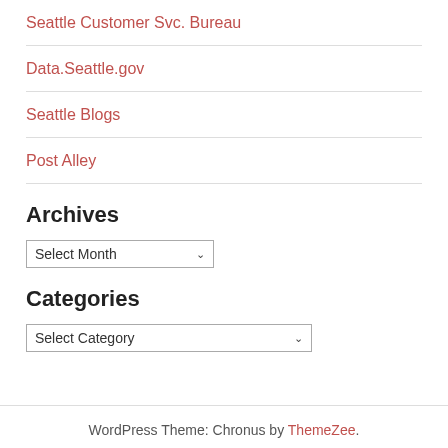Seattle Customer Svc. Bureau
Data.Seattle.gov
Seattle Blogs
Post Alley
Archives
Select Month
Categories
Select Category
WordPress Theme: Chronus by ThemeZee.